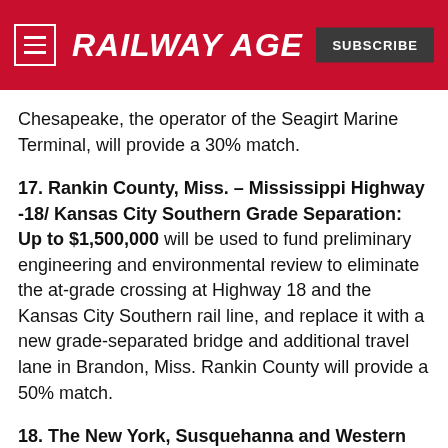RAILWAY AGE
Chesapeake, the operator of the Seagirt Marine Terminal, will provide a 30% match.
17. Rankin County, Miss. – Mississippi Highway -18/ Kansas City Southern Grade Separation: Up to $1,500,000 will be used to fund preliminary engineering and environmental review to eliminate the at-grade crossing at Highway 18 and the Kansas City Southern rail line, and replace it with a new grade-separated bridge and additional travel lane in Brandon, Miss. Rankin County will provide a 50% match.
18. The New York, Susquehanna and Western Railway Corp. (NYS&W) – NYS&W Railway Syracuse Main